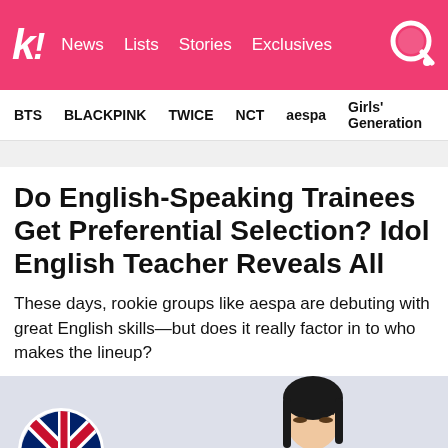koreaboo — News | Lists | Stories | Exclusives
BTS  BLACKPINK  TWICE  NCT  aespa  Girls' Generation
Do English-Speaking Trainees Get Preferential Selection? Idol English Teacher Reveals All
These days, rookie groups like aespa are debuting with great English skills—but does it really factor in to who makes the lineup?
[Figure (photo): Bottom portion showing a UK flag circle on the left and a person's face on the right against a light blue-gray background]